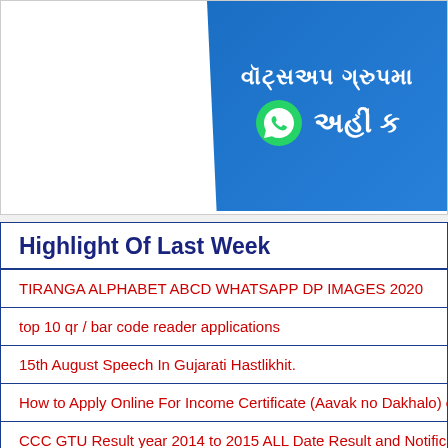[Figure (infographic): WhatsApp group banner in Gujarati text with WhatsApp logo on blue background with diagonal cut]
Highlight Of Last Week
TIRANGA ALPHABET ABCD WHATSAPP DP IMAGES 2020
top 10 qr / bar code reader applications
15th August Speech In Gujarati Hastlikhit.
How to Apply Online For Income Certificate (Aavak no Dakhalo) on Digita
CCC GTU Result year 2014 to 2015 ALL Date Result and Notifications in
Search This Website